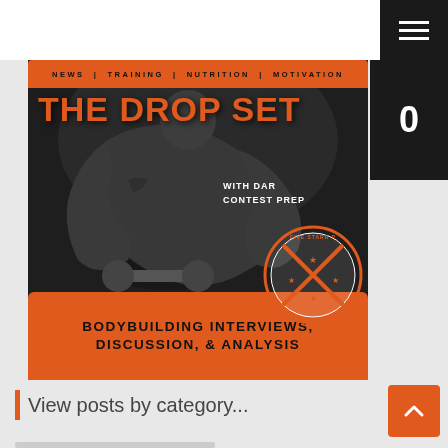[Figure (screenshot): Website screenshot showing 'The Drop Set' podcast/blog page with bodybuilding theme. Top navigation bar with hamburger menu icon. Main hero image showing a muscular athlete in black and white with orange overlay text reading 'THE DROP SET' with subtitle 'WITH DAR CONTEST PREP' and 'BODYBUILDING INTERVIEWS, DISCUSSION, & ANALYSIS'. A Five Starr Performance badge/logo is visible. Below is a 'View posts by category...' section header with orange accent bar and an orange scroll-to-top button.]
THE DROP SET | NEWS | TRAINING | NUTRITION | MOTIVATION
THE DROP SET
WITH DAR CONTEST PREP
BODYBUILDING INTERVIEWS, DISCUSSION, & ANALYSIS
View posts by category...